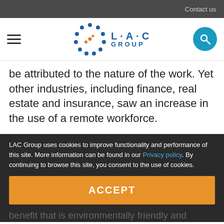Contact us
[Figure (logo): LAC Group logo with circular dot pattern and text L·A·C GROUP]
be attributed to the nature of the work. Yet other industries, including finance, real estate and insurance, saw an increase in the use of a remote workforce.
LAC Group uses cookies to improve functionality and performance of this site. More information can be found in our Privacy policy. By continuing to browse this site, you consent to the use of cookies.
ACCEPT
benefit that is environmentally friendly and